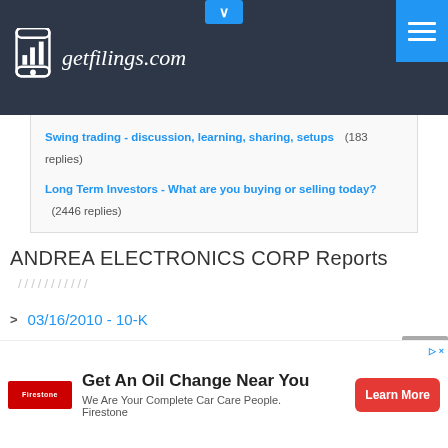[Figure (logo): getfilings.com logo with phone/bar chart icon on dark background header]
Swing trading - discussion, learning, sharing, setups (183 replies)
Long Term Investors - What are you buying or selling today? (2446 replies)
ANDREA ELECTRONICS CORP Reports
03/16/2010 - 10-K
03/17/2011 - 10-K
Get An Oil Change Near You  We Are Your Complete Car Care People. Firestone